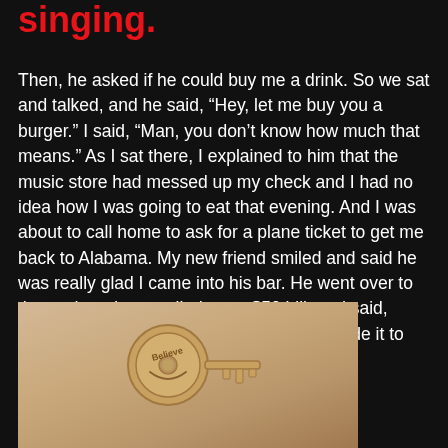singing.
Then, he asked if he could buy me a drink. So we sat and talked, and he said, “Hey, let me buy you a burger.” I said, “Man, you don’t know how much that means.” As I sat there, I explained to him that the music store had messed up my check and I had no idea how I was going to eat that evening. And I was about to call home to ask for a plane ticket to get me back to Alabama. My new friend smiled and said he was really glad I came into his bar. He went over to the cash register, pulled out a $50 bill, and said, “Never give up on your dreams.” Well, I made it to Monday and didn’t give up on my dreams.
[Figure (photo): A decorative key with the word 'Believe' engraved on its circular head, resting on a tan/beige background.]